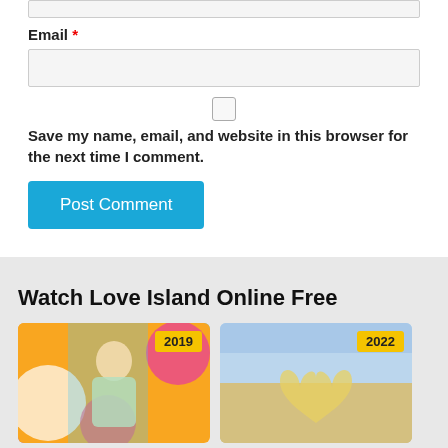Email *
Save my name, email, and website in this browser for the next time I comment.
Post Comment
Watch Love Island Online Free
[Figure (photo): Love Island 2019 promotional image with a woman in front of colorful background, badge showing 2019]
[Figure (photo): Love Island 2022 image with a glittery heart on sandy beach background, badge showing 2022]